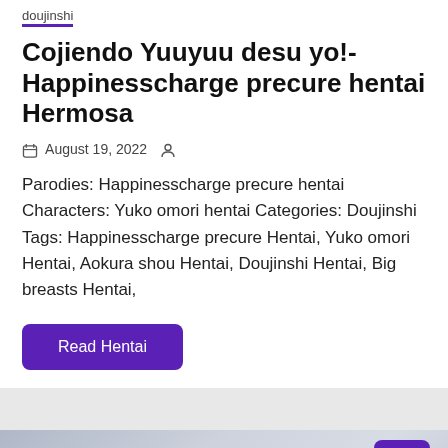doujinshi
Cojiendo Yuuyuu desu yo!- Happinesscharge precure hentai Hermosa
August 19, 2022
Parodies: Happinesscharge precure hentai Characters: Yuko omori hentai Categories: Doujinshi Tags: Happinesscharge precure Hentai, Yuko omori Hentai, Aokura shou Hentai, Doujinshi Hentai, Big breasts Hentai,
Read Hentai
[Figure (illustration): Anime/manga style illustration showing characters, partially visible at bottom of page with blurred background. A scroll-to-top button (purple, with upward arrow) is overlaid in the bottom-right area.]